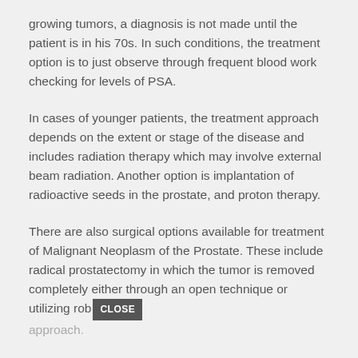growing tumors, a diagnosis is not made until the patient is in his 70s. In such conditions, the treatment option is to just observe through frequent blood work checking for levels of PSA.
In cases of younger patients, the treatment approach depends on the extent or stage of the disease and includes radiation therapy which may involve external beam radiation. Another option is implantation of radioactive seeds in the prostate, and proton therapy.
There are also surgical options available for treatment of Malignant Neoplasm of the Prostate. These include radical prostatectomy in which the tumor is removed completely either through an open technique or utilizing rob[CLOSE] approach.